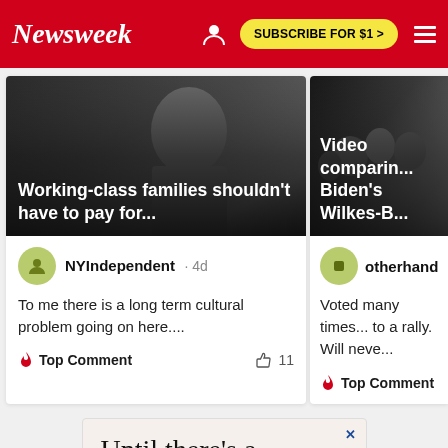Newsweek — SUBSCRIBE FOR $1 >
[Figure (screenshot): Newsweek article card showing Biden profile photo with overlay text: Working-class families shouldn't have to pay for... Comment by NYIndependent · 4d: To me there is a long term cultural problem going on here.... Top Comment, 11 likes]
[Figure (screenshot): Newsweek article card showing rally crowd photo with overlay text: Video comparin... Biden's Wilkes-B... Comment by otherhand: Voted many times... to a rally. Will neve... Top Comment]
Until there's a vaccine for trolls,